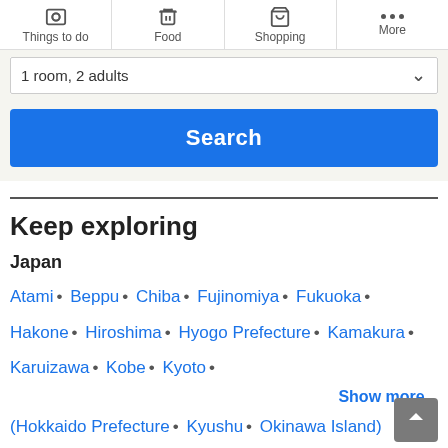Things to do | Food | Shopping | More
1 room, 2 adults
Search
Keep exploring
Japan
Atami • Beppu • Chiba • Fujinomiya • Fukuoka • Hakone • Hiroshima • Hyogo Prefecture • Kamakura • Karuizawa • Kobe • Kyoto •
Show more...
(Hokkaido Prefecture • Kyushu • Okinawa Island)